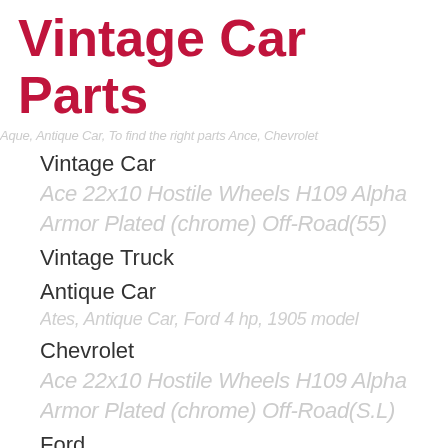Vintage Car Parts
Vintage Car
Vintage Truck
Antique Car
Chevrolet
Ford
Rolls Royce
Automatic Transmission Classic Style Cvt 2.4l Fwd Fits 07-17 Compass 1646651. We Make Every Effort To Provide You With The Best Photos Of The Product Listed. Compass 07 At, (cvt), 2.4l, Fwd. Compass 08-09 At (cvt), 2.4l, Fwd. Compass 10-13 At, (cvt), 2.4l, Fwd. Compass 14-16 At, Cvt, 2.4l, Fwd.